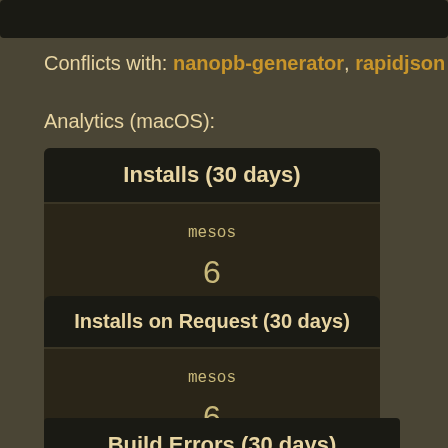[Figure (screenshot): Dark top bar (partial, cropped)]
Conflicts with: nanopb-generator, rapidjson
Analytics (macOS):
| Installs (30 days) |
| --- |
| mesos | 6 |
| Installs on Request (30 days) |
| --- |
| mesos | 6 |
Build Errors (30 days)